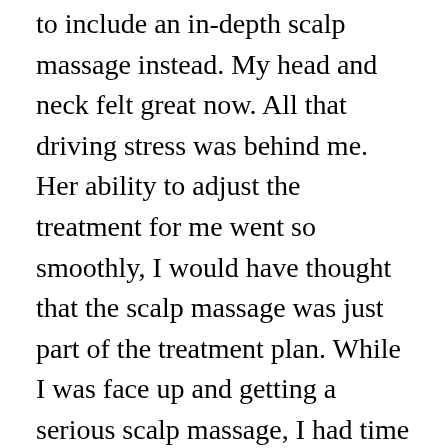to include an in-depth scalp massage instead. My head and neck felt great now. All that driving stress was behind me. Her ability to adjust the treatment for me went so smoothly, I would have thought that the scalp massage was just part of the treatment plan. While I was face up and getting a serious scalp massage, I had time to pump her for information. She mentioned that stretching prior to exercise classes would be beneficial as well as massage appointments if I were experiencing too much stress or strain from all the exercise. She assured me availability of treatments, which put my mind as ease. Massage therapists always advise drinking water post therapy appointments, but that was never truer than in this case. Since she did an extensive lymphatic